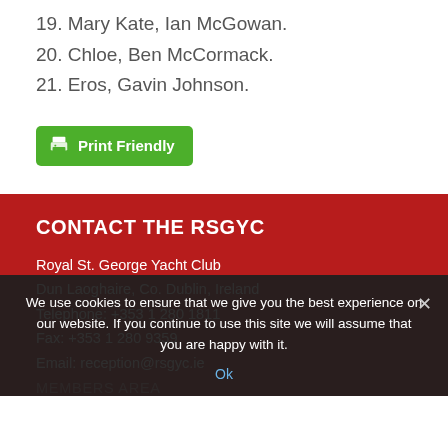19. Mary Kate, Ian McGowan.
20. Chloe, Ben McCormack.
21. Eros, Gavin Johnson.
[Figure (other): Green Print Friendly button with printer icon]
CONTACT THE RSGYC
Royal St. George Yacht Club
Dun Laoghaire, Co. Dublin, Ireland
Telephone: +353 1 280 1811
Fax: +353 1 280 9359
Email: reception@rsgyc.ie
We use cookies to ensure that we give you the best experience on our website. If you continue to use this site we will assume that you are happy with it.